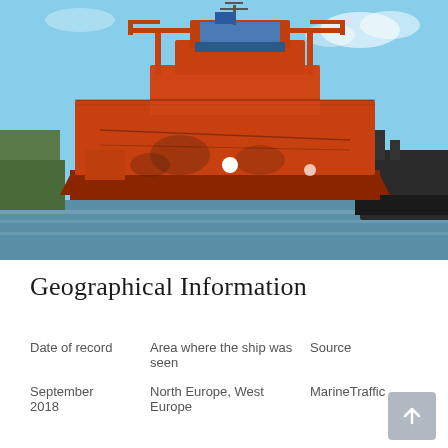[Figure (photo): Large orange/red cargo ship (bulk carrier or tanker) viewed from the front-right, sailing on water. The ship has a prominent orange superstructure and crane structures. Blue sky with some clouds in background. Another dark vessel partially visible on the right side.]
Geographical Information
| Date of record | Area where the ship was seen | Source |
| --- | --- | --- |
| September 2018 | North Europe, West Europe | MarineTraffic |